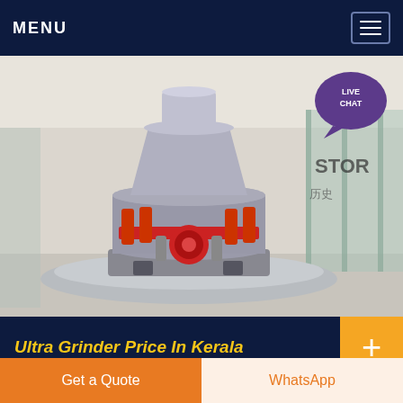MENU
[Figure (photo): Large industrial cone crusher / grinder machine displayed in a showroom or exhibition hall. The machine is gray and red, sitting on a circular platform. Background shows glass walls and store signage including 'STOR' and Chinese characters. A 'LIVE CHAT' speech bubble icon is visible in the top right corner of the image.]
Ultra Grinder Price In Kerala
Ultra wet grinder price list in trivandrum
Get a Quote
WhatsApp